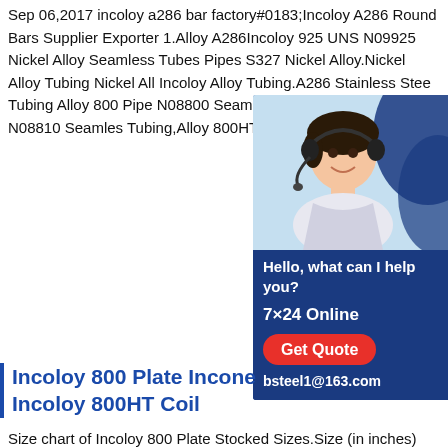Sep 06,2017 incoloy a286 bar factory#0183;Incoloy A286 Round Bars Supplier Exporter 1.Alloy A286Incoloy 925 UNS N09925 Nickel Alloy Seamless Tubes Pipes S327 Nickel Alloy.Nickel Alloy Tubing Nickel All Incoloy Alloy Tubing.A286 Stainless Stee Tubing Alloy 800 Pipe N08800 Seamless Tubing Alloy 800H Pipe N08810 Seamles Tubing,Alloy 800HT Pipe; Incoloy 825 Pi
[Figure (photo): Advertisement box with dark blue background. Top portion shows a photo of a woman wearing a headset. Below photo: 'Hello, what can I help you?' in white bold text. '7×24 Online' in white bold text. 'Get Quote' button in red. 'bsteel1@163.com' in white bold text.]
Incoloy 800 Plate Incone Incoloy 800HT Coil
Size chart of Incoloy 800 Plate Stocked Sizes.Size (in inches) Size (in mm).125 3.18mm.134 3.40mm.156 3.96mm.187 A286 Round Bar inconel 625 Pipe incoloy 800 Pipe inconel 600 Pipe incoloy 825 Pipe inconel 601 Pipe inconel 601 Plate inconel 600 Plate incoloy 825 Plate inconel 625 PlateChina Uns S66286 Price a286 Alloy Steel Incoloy A286 China Uns S66286 Price a286